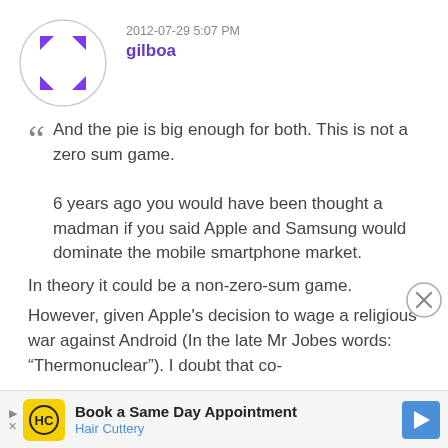[Figure (illustration): Circular avatar placeholder with four purple arrow/chevron shapes pointing inward from corners, on white background with light gray border]
2012-07-29 5:07 PM
gilboa
And the pie is big enough for both. This is not a zero sum game.

6 years ago you would have been thought a madman if you said Apple and Samsung would dominate the mobile smartphone market.
In theory it could be a non-zero-sum game.
However, given Apple's decision to wage a religious war against Android (In the late Mr Jobes words: "Thermonuclear"). I doubt that co-
[Figure (illustration): Close/dismiss button with X symbol in circle]
[Figure (illustration): Advertisement banner: Book a Same Day Appointment - Hair Cuttery, with HC logo and navigation arrow icon]